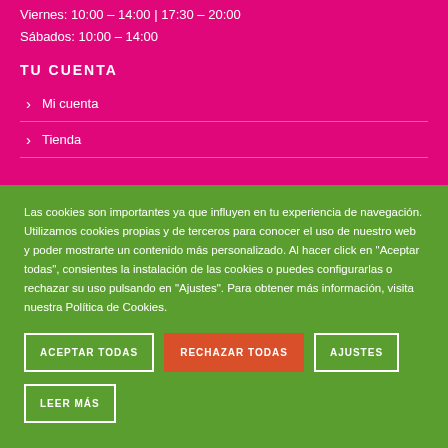Viernes: 10:00 – 14:00 | 17:30 – 20:00
Sábados: 10:00 – 14:00
TU CUENTA
Mi cuenta
Tienda
Las cookies son importantes ya que influyen en tu experiencia de navegación. Utilizamos cookies propias y de terceros para conocer el uso de nuestro web y poder mostrarte un contenido más personalizado. Al hacer click en "Aceptar todas", consientes la instalación de las cookies o puedes configurarlas o rechazar su uso pulsando en "Ajustes". Para obtener más información, visita nuestra Política de Cookies.
ACEPTAR TODAS | RECHAZAR TODAS | AJUSTES
LEER MÁS